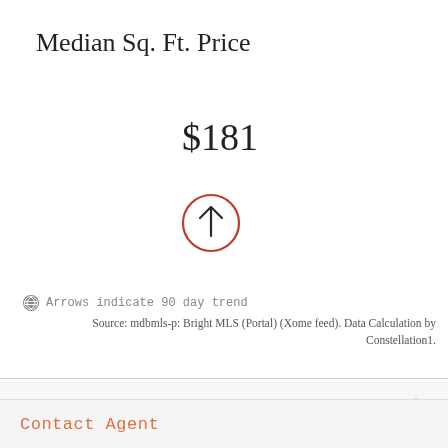Median Sq. Ft. Price
$181
[Figure (infographic): Red circle with upward arrow indicating 90-day price trend going up]
Arrows indicate 90 day trend
Source: mdbmls-p: Bright MLS (Portal) (Xome feed). Data Calculation by Constellation1.
Mortgage Calculator
HELP
Contact Agent